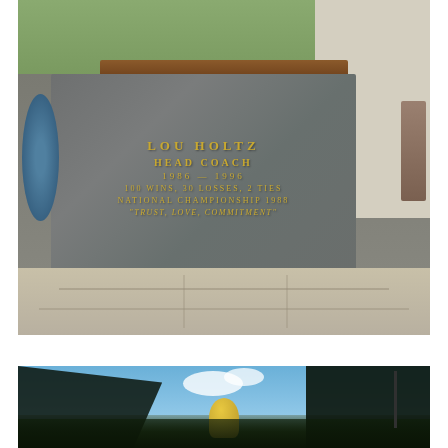[Figure (photo): Photograph of the Lou Holtz monument/statue base at Notre Dame. A granite pedestal inscribed with gold lettering reads: LOU HOLTZ / HEAD COACH / 1986 — 1996 / 100 WINS, 30 LOSSES, 2 TIES / NATIONAL CHAMPIONSHIP 1988 / "TRUST, LOVE, COMMITMENT". Bronze statues visible at top, surrounded by greenery and paved walkway.]
[Figure (photo): Photograph looking up at the golden dome of the University of Notre Dame's Main Building, visible through surrounding trees against a partly cloudy blue sky.]